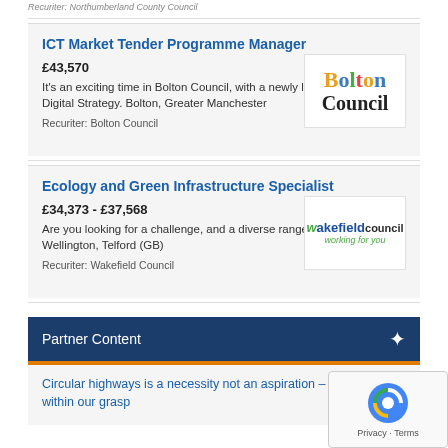Recuriter: Northumberland County Council
ICT Market Tender Programme Manager
£43,570
It's an exciting time in Bolton Council, with a newly launched Digital Strategy. Bolton, Greater Manchester
Recuriter: Bolton Council
[Figure (logo): Bolton Council logo with coloured letters]
Ecology and Green Infrastructure Specialist
£34,373 - £37,568
Are you looking for a challenge, and a diverse range of work? Wellington, Telford (GB)
Recuriter: Wakefield Council
[Figure (logo): Wakefield Council logo - working for you]
Partner Content
Circular highways is a necessity not an aspiration – and it is within our grasp